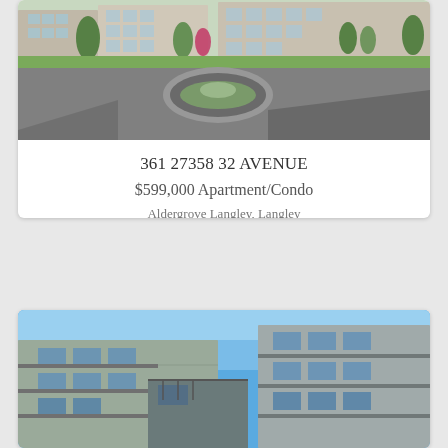[Figure (photo): Exterior photo of apartment complex with circular driveway and landscaping, green trees and shrubs visible, residential buildings in background]
361 27358 32 AVENUE
$599,000 Apartment/Condo
Aldergrove Langley, Langley
3 Beds, 2 Baths, 1078 Sq. Ft., Built 2021
[Figure (logo): RE/MAX house logo in square border]
RE/MAX Treeland Realty (R2716228)
[Figure (photo): Looking up at modern apartment/condo building exterior with siding, balconies and windows against blue sky]